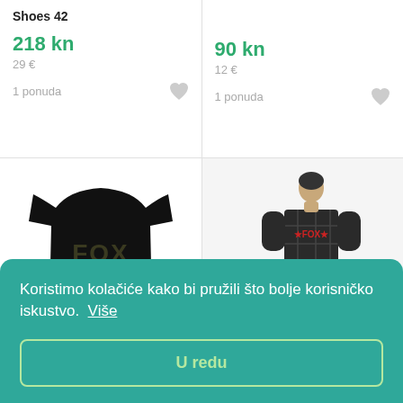Shoes 42
218 kn
29 €
1 ponuda
90 kn
12 €
1 ponuda
[Figure (photo): Black Fox Fishing t-shirt with camo logo on white background]
[Figure (photo): Man wearing black plaid Fox t-shirt with logo]
Fox Fishing Karp Black/Camo Print Logo T-Shirt
FOX Carver SS Premium Black XL Majica
Koristimo kolačiće kako bi pružili što bolje korisničko iskustvo.  Više
U redu